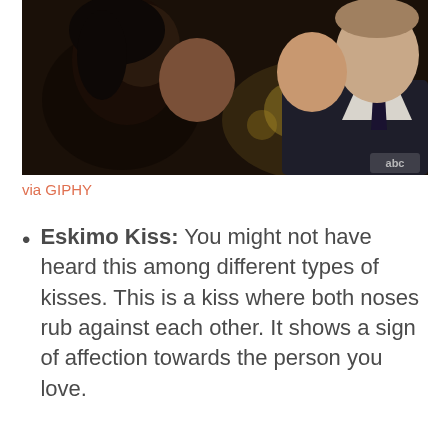[Figure (photo): Two people about to kiss in a dimly lit setting, with an ABC network watermark in the bottom right corner. The image appears to be a still from a TV show.]
via GIPHY
Eskimo Kiss: You might not have heard this among different types of kisses. This is a kiss where both noses rub against each other. It shows a sign of affection towards the person you love.